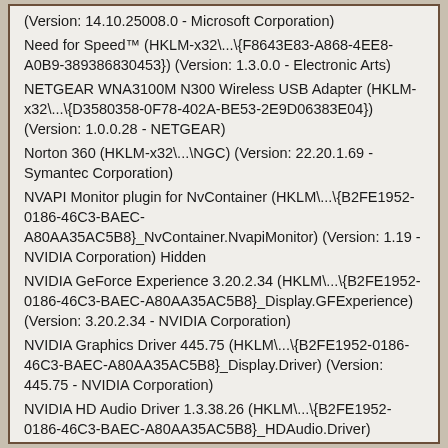(Version: 14.10.25008.0 - Microsoft Corporation)
Need for Speed™ (HKLM-x32\...\{F8643E83-A868-4EE8-A0B9-389386830453}) (Version: 1.3.0.0 - Electronic Arts)
NETGEAR WNA3100M N300 Wireless USB Adapter (HKLM-x32\...\{D3580358-0F78-402A-BE53-2E9D06383E04}) (Version: 1.0.0.28 - NETGEAR)
Norton 360 (HKLM-x32\...\NGC) (Version: 22.20.1.69 - Symantec Corporation)
NVAPI Monitor plugin for NvContainer (HKLM\...\{B2FE1952-0186-46C3-BAEC-A80AA35AC5B8}_NvContainer.NvapiMonitor) (Version: 1.19 - NVIDIA Corporation) Hidden
NVIDIA GeForce Experience 3.20.2.34 (HKLM\...\{B2FE1952-0186-46C3-BAEC-A80AA35AC5B8}_Display.GFExperience) (Version: 3.20.2.34 - NVIDIA Corporation)
NVIDIA Graphics Driver 445.75 (HKLM\...\{B2FE1952-0186-46C3-BAEC-A80AA35AC5B8}_Display.Driver) (Version: 445.75 - NVIDIA Corporation)
NVIDIA HD Audio Driver 1.3.38.26 (HKLM\...\{B2FE1952-0186-46C3-BAEC-A80AA35AC5B8}_HDAudio.Driver) (Version: 1.3.38.26 - NVIDIA Corporation)
NVIDIA PhysX System Software 9.19.0218 (HKLM\...\{B2FE1952-0186-46C3-BAEC-A80AA35AC5B8}_Display.PhysX) (Version: 9.19.0218 - NVIDIA Corporation)